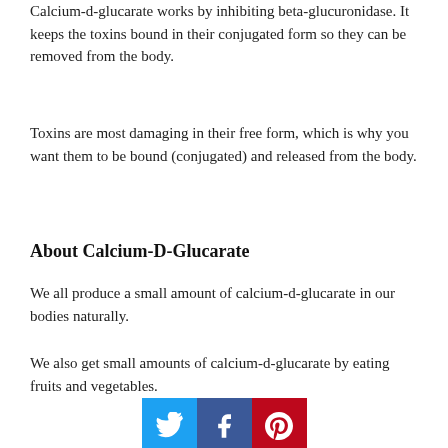Calcium-d-glucarate works by inhibiting beta-glucuronidase. It keeps the toxins bound in their conjugated form so they can be removed from the body.
Toxins are most damaging in their free form, which is why you want them to be bound (conjugated) and released from the body.
About Calcium-D-Glucarate
We all produce a small amount of calcium-d-glucarate in our bodies naturally.
We also get small amounts of calcium-d-glucarate by eating fruits and vegetables.
[Figure (other): Social media share buttons: Twitter (blue), Facebook (dark blue), Pinterest (red)]